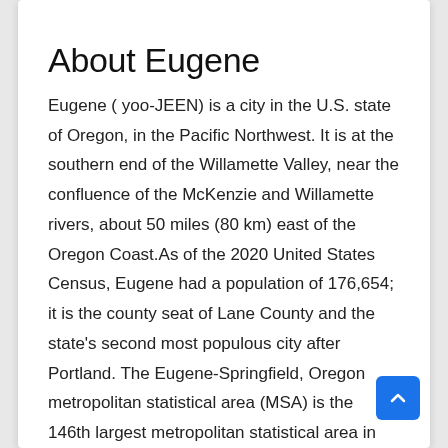About Eugene
Eugene ( yoo-JEEN) is a city in the U.S. state of Oregon, in the Pacific Northwest. It is at the southern end of the Willamette Valley, near the confluence of the McKenzie and Willamette rivers, about 50 miles (80 km) east of the Oregon Coast.As of the 2020 United States Census, Eugene had a population of 176,654; it is the county seat of Lane County and the state's second most populous city after Portland. The Eugene-Springfield, Oregon metropolitan statistical area (MSA) is the 146th largest metropolitan statistical area in the US and the third-largest in the state,